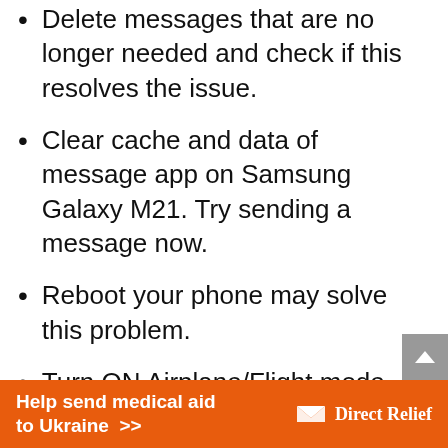Delete messages that are no longer needed and check if this resolves the issue.
Clear cache and data of message app on Samsung Galaxy M21. Try sending a message now.
Reboot your phone may solve this problem.
Turn ON Airplane/Flight mode and again Turn OFF and check if this fixes the problem.
Open the contact app and check if the contact you are trying to send the
[Figure (infographic): Orange advertisement banner: 'Help send medical aid to Ukraine >>' with Direct Relief logo on the right]